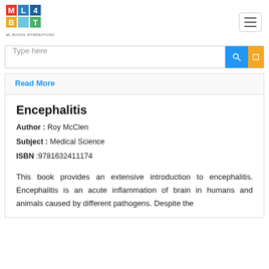[Figure (logo): ML Books International logo with colorful letter blocks M, L, B, T in red, blue, yellow, green]
Type here
Read More
Encephalitis
Author : Roy McClen
Subject : Medical Science
ISBN :9781632411174
This book provides an extensive introduction to encephalitis. Encephalitis is an acute inflammation of brain in humans and animals caused by different pathogens. Despite the